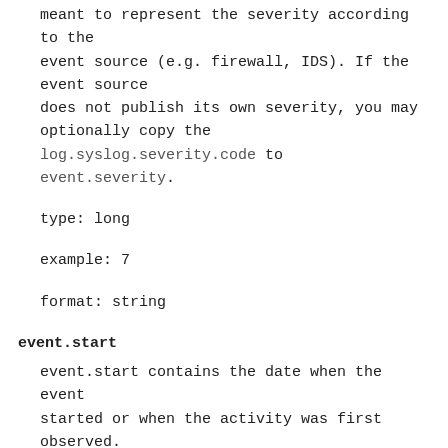meant to represent the severity according to the event source (e.g. firewall, IDS). If the event source does not publish its own severity, you may optionally copy the log.syslog.severity.code to event.severity.
type: long
example: 7
format: string
event.start
event.start contains the date when the event started or when the activity was first observed.
type: date
event.timezone
This field should be populated when the event's timestamp does not include timezone information